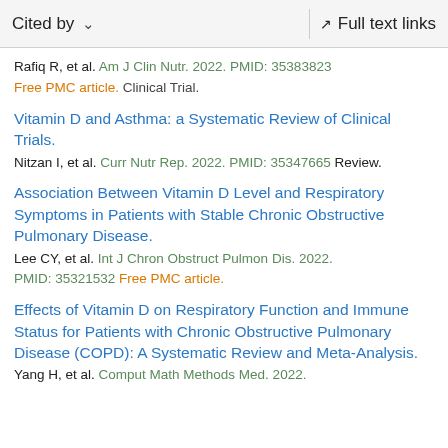Cited by   ∨   Full text links
Rafiq R, et al. Am J Clin Nutr. 2022. PMID: 35383823 Free PMC article. Clinical Trial.
Vitamin D and Asthma: a Systematic Review of Clinical Trials.
Nitzan I, et al. Curr Nutr Rep. 2022. PMID: 35347665 Review.
Association Between Vitamin D Level and Respiratory Symptoms in Patients with Stable Chronic Obstructive Pulmonary Disease.
Lee CY, et al. Int J Chron Obstruct Pulmon Dis. 2022. PMID: 35321532 Free PMC article.
Effects of Vitamin D on Respiratory Function and Immune Status for Patients with Chronic Obstructive Pulmonary Disease (COPD): A Systematic Review and Meta-Analysis.
Yang H, et al. Comput Math Methods Med. 2022.